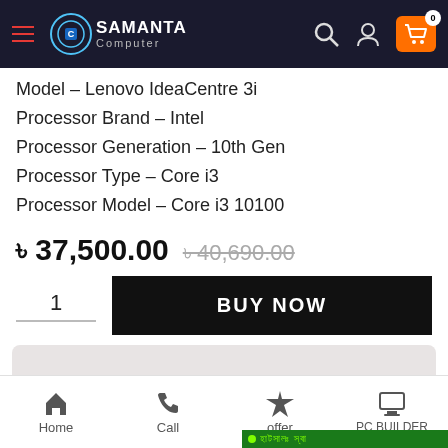Samanta Computer
Model – Lenovo IdeaCentre 3i
Processor Brand – Intel
Processor Generation – 10th Gen
Processor Type – Core i3
Processor Model – Core i3 10100
৳ 37,500.00  ৳ 40,690.00
1  BUY NOW
Home  Call  offer  PC BUILDER